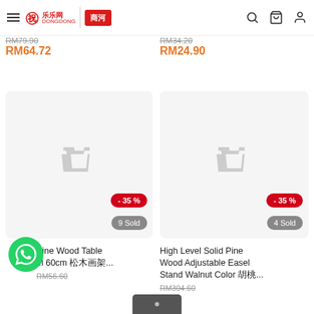DongDong / 乐乐网 | 商河 — navigation header with search, cart, and user icons
RM79.90 (original price, strikethrough)
RM64.72 (sale price)
GeSO / MODELLING PASTE 4730... Oil Painting Acrylic... (partial product title)
RM34.20 (original price, strikethrough)
RM24.90 (sale price)
[Figure (screenshot): Product card placeholder with shopping cart icon, -35% red badge, and '9 Sold' grey badge]
[Figure (screenshot): Product card placeholder with shopping cart icon, -35% red badge, and '4 Sold' grey badge]
Pine Wood Table... el 60cm 松木画架 (partial product name)
RM56.60 (original price, strikethrough)
High Level Solid Pine Wood Adjustable Easel Stand Walnut Color 胡桃...
RM304.60 (original price, strikethrough)